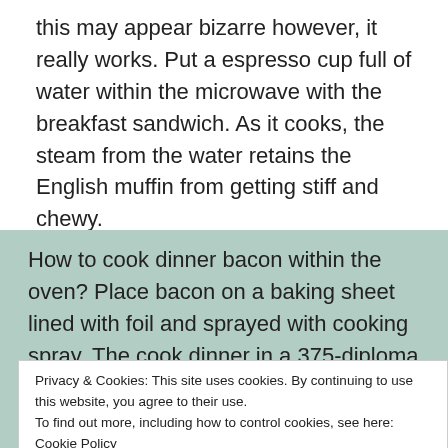this may appear bizarre however, it really works. Put a espresso cup full of water within the microwave with the breakfast sandwich. As it cooks, the steam from the water retains the English muffin from getting stiff and chewy.
How to cook dinner bacon within the oven? Place bacon on a baking sheet lined with foil and sprayed with cooking spray. The cook dinner in a 375-diploma oven for 25 – half-hour or till crispy. Drain on a paper towel
Privacy & Cookies: This site uses cookies. By continuing to use this website, you agree to their use.
To find out more, including how to control cookies, see here:
Cookie Policy
Close and accept
9 x 13 baking dishRimmed baking sheet panPlastic